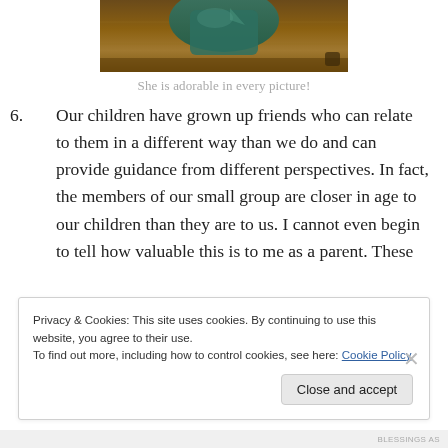[Figure (photo): A child wearing a teal/green garment, photographed from below/behind on a wooden floor background.]
She is adorable in every picture!
6. Our children have grown up friends who can relate to them in a different way than we do and can provide guidance from different perspectives. In fact, the members of our small group are closer in age to our children than they are to us. I cannot even begin to tell how valuable this is to me as a parent. These
Privacy & Cookies: This site uses cookies. By continuing to use this website, you agree to their use.
To find out more, including how to control cookies, see here: Cookie Policy